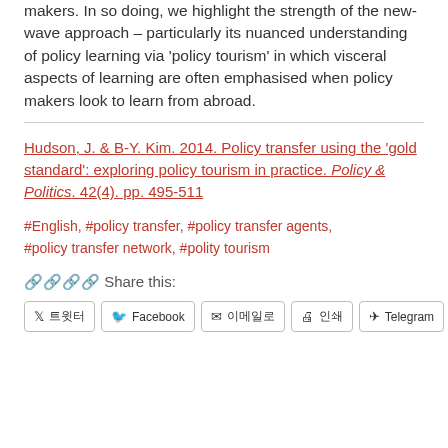makers. In so doing, we highlight the strength of the new-wave approach – particularly its nuanced understanding of policy learning via 'policy tourism' in which visceral aspects of learning are often emphasised when policy makers look to learn from abroad.
Hudson, J. & B-Y. Kim. 2014. Policy transfer using the 'gold standard': exploring policy tourism in practice. Policy & Politics. 42(4). pp. 495-511
#English, #policy transfer, #policy transfer agents, #policy transfer network, #polity tourism
🔗 Share this: